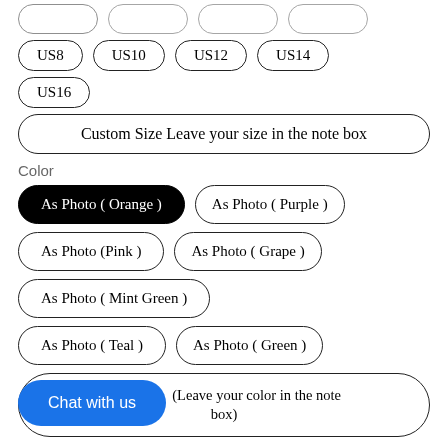US8, US10, US12, US14
US16
Custom Size Leave your size in the note box
Color
As Photo ( Orange ) [selected]
As Photo ( Purple )
As Photo (Pink )
As Photo ( Grape )
As Photo ( Mint Green )
As Photo ( Teal )
As Photo ( Green )
Custom Color (Leave your color in the note box)
Chat with us